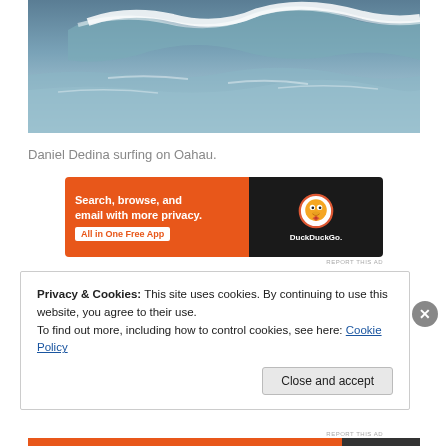[Figure (photo): Ocean wave photo — large crashing wave with white foam and blue-grey water, Daniel Dedina surfing on Oahau]
Daniel Dedina surfing on Oahau.
[Figure (other): DuckDuckGo advertisement banner: 'Search, browse, and email with more privacy. All in One Free App' with DuckDuckGo logo on dark background]
Privacy & Cookies: This site uses cookies. By continuing to use this website, you agree to their use.
To find out more, including how to control cookies, see here: Cookie Policy
Close and accept